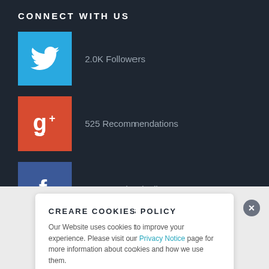CONNECT WITH US
2.0K Followers
525 Recommendations
4.7K Facebook Likes
CREARE COOKIES POLICY
Our Website uses cookies to improve your experience. Please visit our Privacy Notice page for more information about cookies and how we use them.